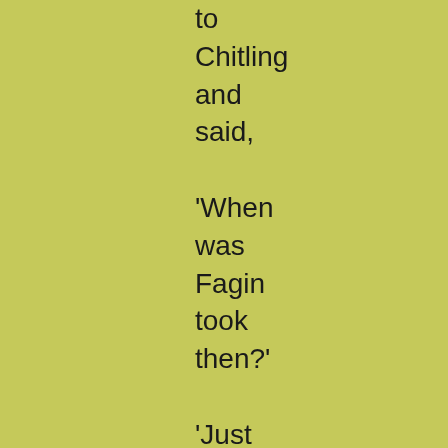to Chitling and said, 'When was Fagin took then?' 'Just at dinner-time - two o'clock this afternoon.